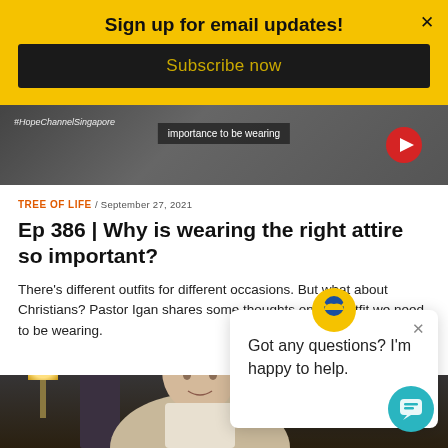Sign up for email updates!
Subscribe now
[Figure (screenshot): Video thumbnail strip showing '#HopeChannelSingapore' tag, text overlay 'importance to be wearing', and a red play button on the right]
TREE OF LIFE / SEPTEMBER 27, 2021
Ep 386 | Why is wearing the right attire so important?
There's different outfits for different occasions. But what about Christians? Pastor Igan shares some thoughts on the outfit we need to be wearing.
[Figure (photo): Photo of a woman with short grey hair speaking, with a lamp visible on the left side and curtains in the background]
Got any questions? I'm happy to help.